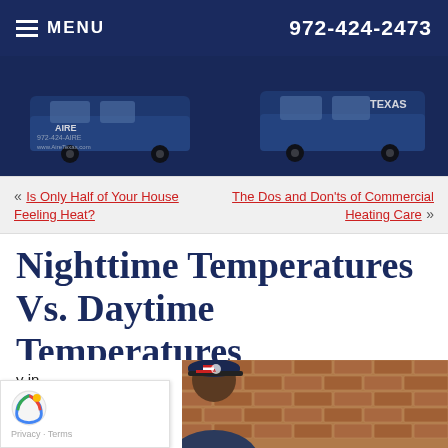MENU   972-424-2473
[Figure (photo): Dark blue banner with service vans and AIRE Texas branding, showing phone number 972-424-AIRE and website www.AireTexas.com]
« Is Only Half of Your House Feeling Heat?   The Dos and Don'ts of Commercial Heating Care »
Nighttime Temperatures Vs. Daytime Temperatures
[Figure (photo): HVAC technician wearing a cap with American flag design, working on a brick wall exterior, partially visible]
y in   which